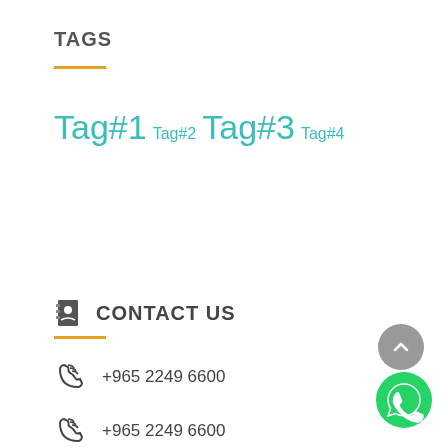TAGS
Tag#1 Tag#2 Tag#3 Tag#4
CONTACT US
+965 2249 6600
+965 2249 6600